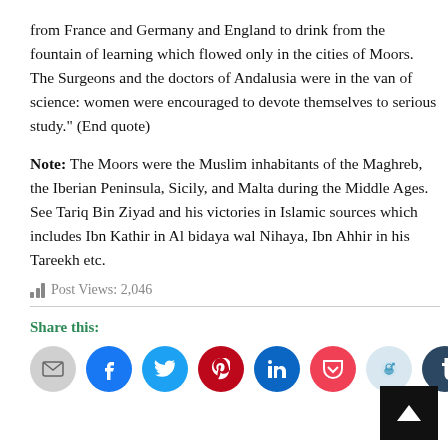from France and Germany and England to drink from the fountain of learning which flowed only in the cities of Moors. The Surgeons and the doctors of Andalusia were in the van of science: women were encouraged to devote themselves to serious study." (End quote)
Note: The Moors were the Muslim inhabitants of the Maghreb, the Iberian Peninsula, Sicily, and Malta during the Middle Ages.
See Tariq Bin Ziyad and his victories in Islamic sources which includes Ibn Kathir in Al bidaya wal Nihaya, Ibn Ahhir in his Tareekh etc.
Post Views: 2,046
Share this: